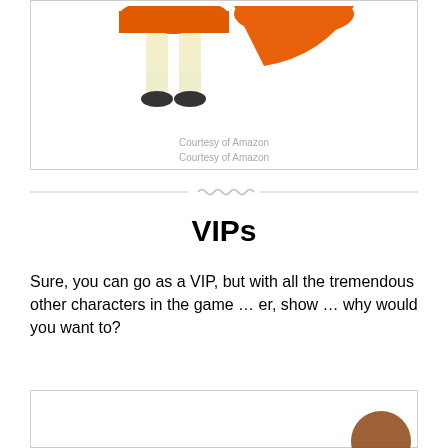[Figure (illustration): Cartoon character in orange dress and white socks with black shoes (partially visible, showing lower body)]
Courtesy of Amazon
[Figure (other): Decorative divider with wavy lines]
VIPs
Sure, you can go as a VIP, but with all the tremendous other characters in the game … er, show … why would you want to?
[Figure (illustration): Bottom of page illustration (partially visible)]